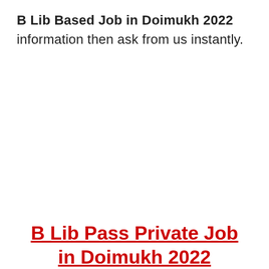B Lib Based Job in Doimukh 2022 information then ask from us instantly.
B Lib Pass Private Job in Doimukh 2022